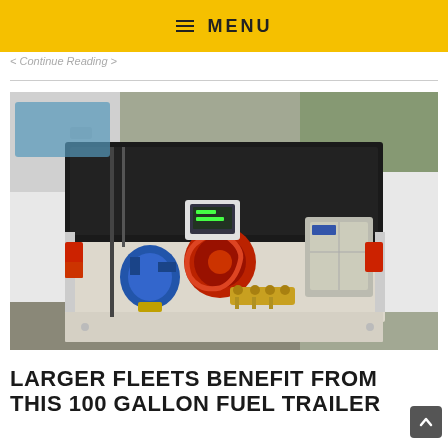≡ MENU
< Continue Reading >
[Figure (photo): Aerial view of a pickup truck bed open from the rear, containing a complex fuel/fluid transfer system with a blue pump, red hose reel, gold valve fittings, digital meter display, and a grey electrical cabinet, mounted in front of a large black tank.]
LARGER FLEETS BENEFIT FROM THIS 100 GALLON FUEL TRAILER